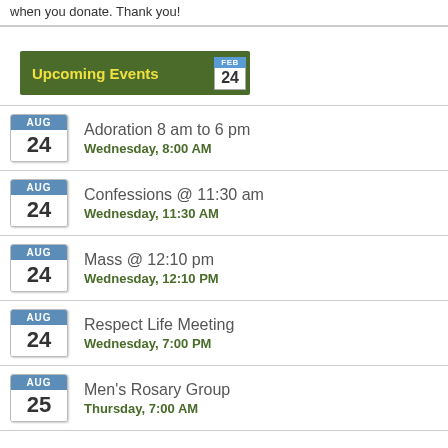when you donate. Thank you!
Upcoming Events — FEB 24
Adoration 8 am to 6 pm — Wednesday, 8:00 AM — AUG 24
Confessions @ 11:30 am — Wednesday, 11:30 AM — AUG 24
Mass @ 12:10 pm — Wednesday, 12:10 PM — AUG 24
Respect Life Meeting — Wednesday, 7:00 PM — AUG 24
Men's Rosary Group — Thursday, 7:00 AM — AUG 25